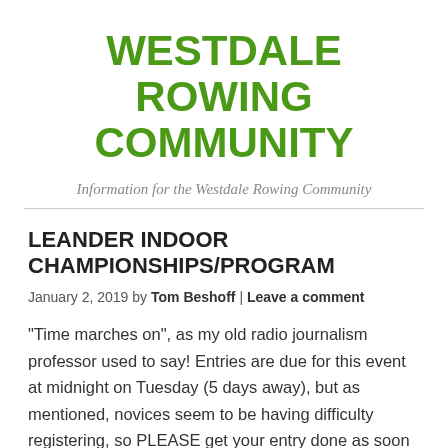WESTDALE ROWING COMMUNITY
Information for the Westdale Rowing Community
LEANDER INDOOR CHAMPIONSHIPS/PROGRAM
January 2, 2019 by Tom Beshoff | Leave a comment
“Time marches on”, as my old radio journalism professor used to say! Entries are due for this event at midnight on Tuesday (5 days away), but as mentioned, novices seem to be having difficulty registering, so PLEASE get your entry done as soon as possible and not leave me to have to deal with a bunch of you having problems all at once on